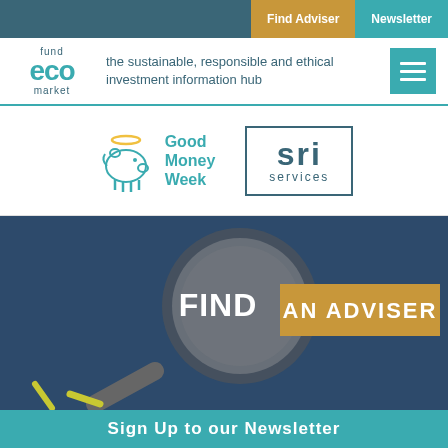Find Adviser | Newsletter
[Figure (logo): fund eco market logo - the sustainable, responsible and ethical investment information hub]
[Figure (logo): Good Money Week logo with piggy bank icon]
[Figure (logo): SRI Services logo in bordered box]
[Figure (infographic): Find an Adviser call-to-action graphic with magnifying glass and gold banner text]
Sign Up to our Newsletter